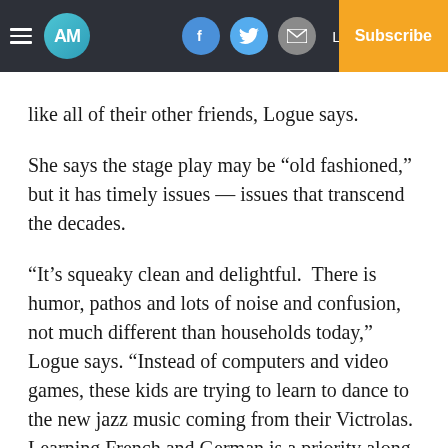AM | Facebook | Twitter | Email | Log In | Subscribe
like all of their other friends, Logue says.
She says the stage play may be “old fashioned,” but it has timely issues — issues that transcend the decades.
“It’s squeaky clean and delightful. There is humor, pathos and lots of noise and confusion, not much different than households today,” Logue says. “Instead of computers and video games, these kids are trying to learn to dance to the new jazz music coming from their Victrolas. Learning French and German is a priority along with getting the best